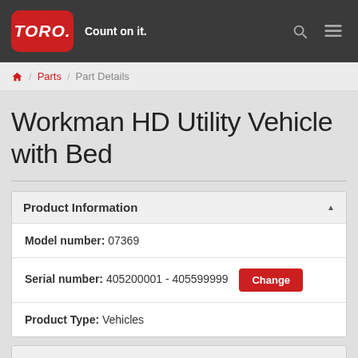TORO Count on it.
Home / Parts / Part Details
Workman HD Utility Vehicle with Bed
Product Information
Model number: 07369
Serial number: 405200001 - 405599999 [Change]
Product Type: Vehicles